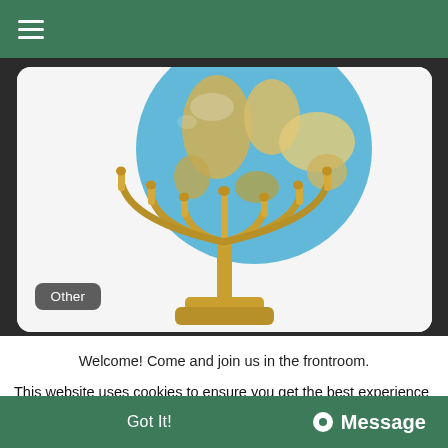≡ (hamburger menu)
[Figure (photo): A golden menorah in front of a blue and green globe on a white background, shown inside a rounded rectangle card on a dark background. An 'Other' badge is overlaid at the bottom left.]
Welcome! Come and join us in the frontroom.
This website uses cookies to ensure you get the best experience on our website. Learn More
Got It!   Message